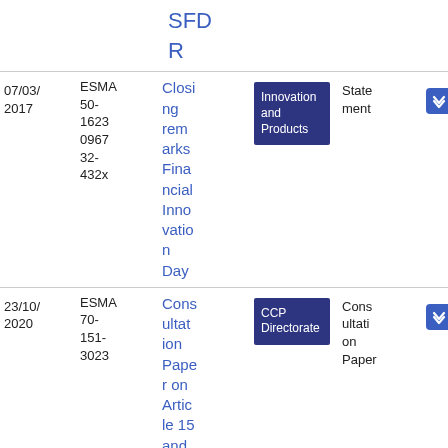| Date | Reference | Title | Tag | Type | PDF |
| --- | --- | --- | --- | --- | --- |
|  |  | SFDR |  |  |  |
| 07/03/2017 | ESMA 50-1623 0967 32-432x | Closing remarks Financial Innovation Day | Innovation and Products | Statement | PDF 15 2.27 KB |
| 23/10/2020 | ESMA 70-151-3023 | Consultation Paper on Article 15 and | CCP Directorate | Consultation Paper | PDF 58 1.02 KB |